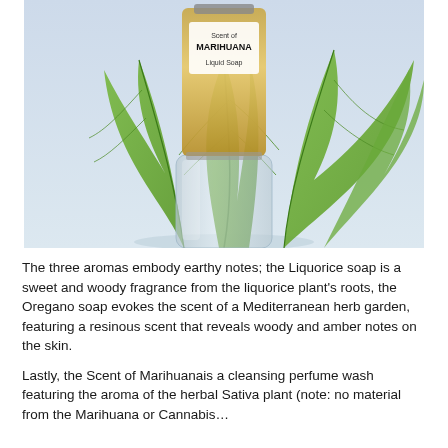[Figure (photo): Product photo of a glass bottle of liquid soap labeled 'Scent of MARIHUANA Liquid Soap' with large green cannabis-like leaves fanned behind a clear glass bottle base, on a light blue-grey background.]
The three aromas embody earthy notes; the Liquorice soap is a sweet and woody fragrance from the liquorice plant's roots, the Oregano soap evokes the scent of a Mediterranean herb garden, featuring a resinous scent that reveals woody and amber notes on the skin.
Lastly, the Scent of Marihuanais a cleansing perfume wash featuring the aroma of the herbal Sativa plant (note: no material from the Marihuana or Cannabis...